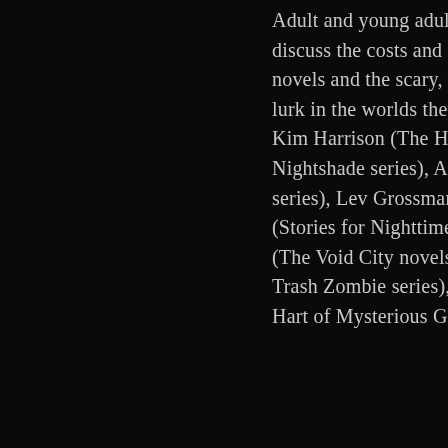Adult and young adult science fiction and fantasy authors discuss the costs and consequences of “magic” in their novels and the scary, hairy, and dangerous creatures that lurk in the worlds they have created. Visit the worlds of Kim Harrison (The Hollows series), Andrea Cremer (The Nightshade series), Anton Strout (The Simon Canderous series), Lev Grossman (The Magicians), Ben Loory (Stories for Nighttime and Some for the Day), J. F. Lewis (The Void City novels), and Diana Rowland (The White Trash Zombie series), guided by moderator Maryelizabeth Hart of Mysterious Galaxy. Room 25ABC